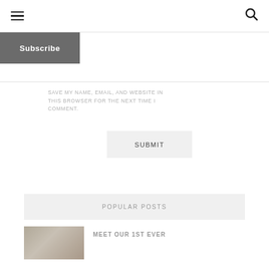☰ 🔍
Subscribe
SAVE MY NAME, EMAIL, AND WEBSITE IN THIS BROWSER FOR THE NEXT TIME I COMMENT.
SUBMIT
POPULAR POSTS
[Figure (photo): Thumbnail photo of people]
MEET OUR 1ST EVER